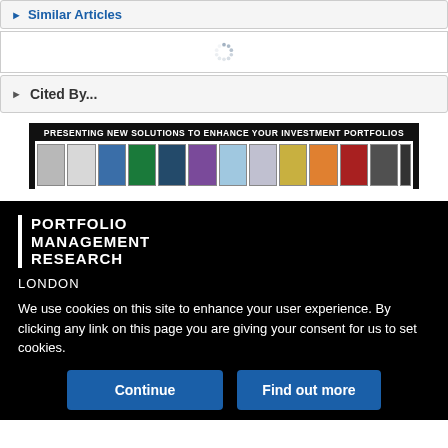Similar Articles
[Figure (other): Loading spinner dots]
Cited By...
[Figure (infographic): Ad banner: PRESENTING NEW SOLUTIONS TO ENHANCE YOUR INVESTMENT PORTFOLIOS with a row of journal covers]
[Figure (logo): Portfolio Management Research logo with vertical bar, white text on black background]
LONDON
We use cookies on this site to enhance your user experience. By clicking any link on this page you are giving your consent for us to set cookies.
Continue
Find out more